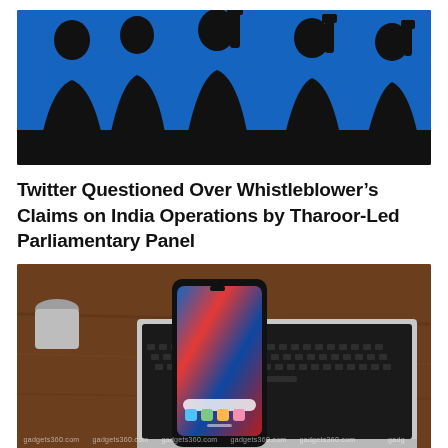[Figure (photo): Silhouettes of people using smartphones against a bright blue background, black and blue contrast image]
Twitter Questioned Over Whistleblower’s Claims on India Operations by Tharoor-Led Parliamentary Panel
[Figure (photo): A smartphone standing upright on a wooden desk with a colorful abstract wallpaper screen, laptop keyboard visible in background. Watermark: gadgets360.com repeated across bottom.]